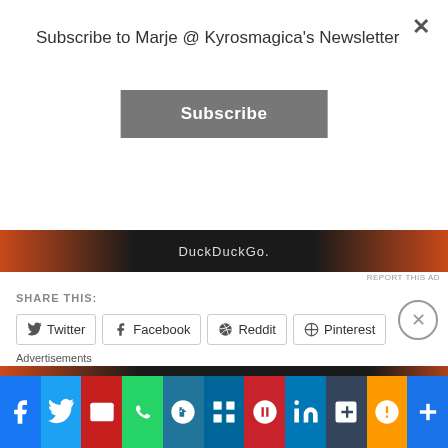Subscribe to Marje @ Kyrosmagica's Newsletter
Subscribe
[Figure (screenshot): DuckDuckGo advertisement banner with orange and dark background showing 'DuckDuckGo.' text]
REPORT THIS AD
SHARE THIS:
Twitter
Facebook
Reddit
Pinterest
Print
WhatsApp
Skype
Email
LIKE THIS:
Loading...
Advertisements
[Figure (screenshot): Search, browse, and email advertisement banner]
[Figure (screenshot): Social share bar with Facebook, Twitter, Email, WhatsApp, WordPress, MeWe, Pinterest, LinkedIn, Tumblr, Amazon, and Add buttons]